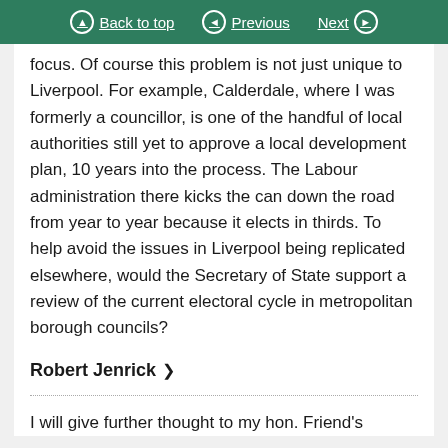Back to top | Previous | Next
focus. Of course this problem is not just unique to Liverpool. For example, Calderdale, where I was formerly a councillor, is one of the handful of local authorities still yet to approve a local development plan, 10 years into the process. The Labour administration there kicks the can down the road from year to year because it elects in thirds. To help avoid the issues in Liverpool being replicated elsewhere, would the Secretary of State support a review of the current electoral cycle in metropolitan borough councils?
Robert Jenrick ›
I will give further thought to my hon. Friend's